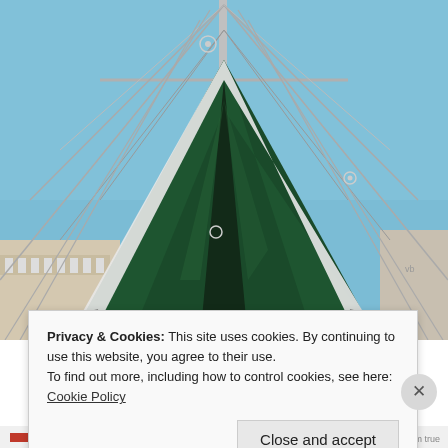[Figure (photo): A large sailing boat hull viewed from below the bow, showing a dark green hull with white stripe, suspended on stands in a boatyard with blue sky in the background and rigging lines visible.]
Privacy & Cookies: This site uses cookies. By continuing to use this website, you agree to their use.
To find out more, including how to control cookies, see here: Cookie Policy
Close and accept